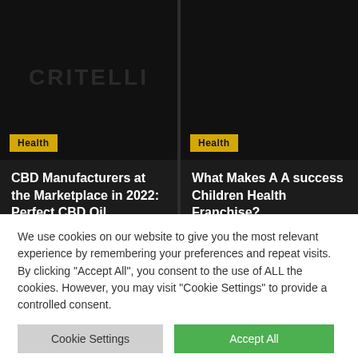[Figure (screenshot): Dark-themed website card with black background showing 'CRITELLI' watermark text in dark gray, with a yellow 'Health' badge at bottom left]
CBD Manufacturers at the Marketplace in 2022: Perfect CBD Oil
[Figure (screenshot): Dark-themed website card with black background, with a yellow 'Health' badge at bottom left]
What Makes A A success Children Health Franchise?
We use cookies on our website to give you the most relevant experience by remembering your preferences and repeat visits. By clicking “Accept All”, you consent to the use of ALL the cookies. However, you may visit "Cookie Settings" to provide a controlled consent.